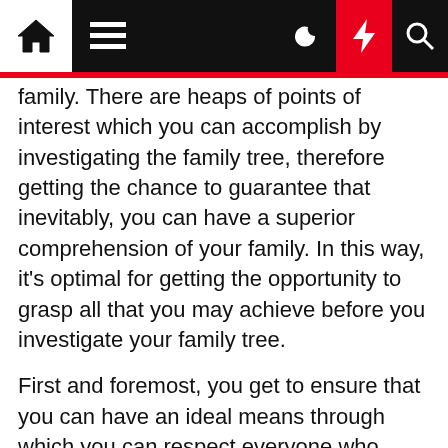[Navigation bar with home, menu, moon, bolt, search icons]
family. There are heaps of points of interest which you can accomplish by investigating the family tree, therefore getting the chance to guarantee that inevitably, you can have a superior comprehension of your family. In this way, it's optimal for getting the opportunity to grasp all that you may achieve before you investigate your family tree.
First and foremost, you get to ensure that you can have an ideal means through which you can respect everyone who might have come before, all which might be the best means to ascertaining that you preserve your family history. Through this, you always can get to ensure that you can talk more about the lineage and ensure that everyone within your family also can comprehend as per everything which might work. All the more in this way, this will be the best means through which you can end up